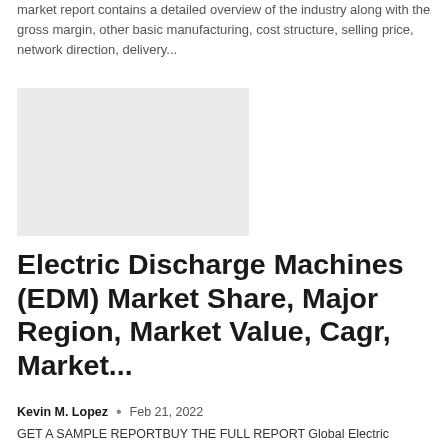market report contains a detailed overview of the industry along with the gross margin, other basic manufacturing, cost structure, selling price, network direction, delivery...
[Figure (photo): Placeholder image, light gray rectangle]
Electric Discharge Machines (EDM) Market Share, Major Region, Market Value, Cagr, Market...
Kevin M. Lopez  •  Feb 21, 2022
GET A SAMPLE REPORTBUY THE FULL REPORT Global Electric